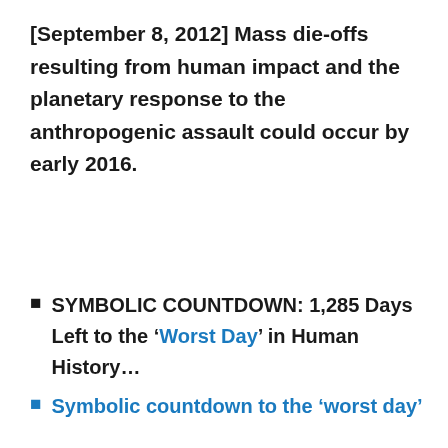[September 8, 2012] Mass die-offs resulting from human impact and the planetary response to the anthropogenic assault could occur by early 2016.
SYMBOLIC COUNTDOWN: 1,285 Days Left to the ‘Worst Day’ in Human History…
Symbolic countdown to the ‘worst day’